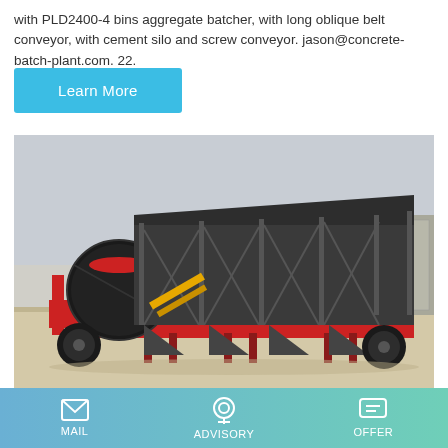with PLD2400-4 bins aggregate batcher, with long oblique belt conveyor, with cement silo and screw conveyor. jason@concrete-batch-plant.com. 22.
Learn More
[Figure (photo): A mobile concrete batch mix plant on a red trailer, with a large drum mixer on the left and a dark steel aggregate hopper structure on the right, photographed outdoors on a sandy surface.]
Concrete Batch Mix Plants -
MAIL   ADVISORY   OFFER